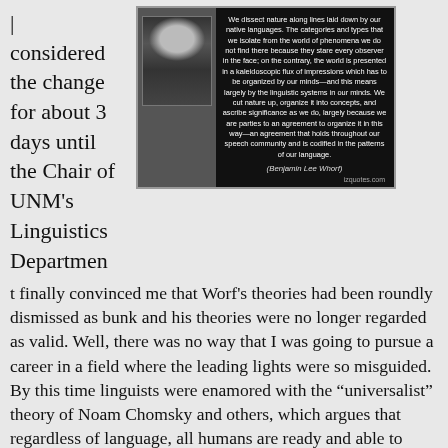considered the change for about 3 days until the Chair of UNM's Linguistics Department finally convinced me that Worf's theories had been roundly dismissed as bunk and his theories were no longer regarded as valid. Well, there was no way that I was going to pursue a career in a field where the leading lights were so misguided. By this time linguists were enamored with the “universalist” theory of Noam Chomsky and others, which argues that regardless of language, all humans are ready and able to understand the world in exactly the same way.
[Figure (photo): Black and white quote card with dark background featuring a portrait photo of Benjamin Lee Whorf on the left side and a quote on the right: 'We dissect nature along lines laid down by our native languages. The categories and types that we isolate from the world of phenomena we do not find there because they stare every observer in the face; on the contrary, the world is presented in a kaleidoscopic flux of impressions which has to be organized by our minds—and this means largely by the linguistic systems in our minds. We cut nature up, organize it into concepts, and ascribe significance as we do, largely because we are parties to an agreement to organize it in this way—an agreement that holds throughout our speech community and is codified in the patterns of our language.' Attribution: (Benjamin Lee Whorf). Source: izquotes.com]
Yet, as Native Americans know, time is circular rather than